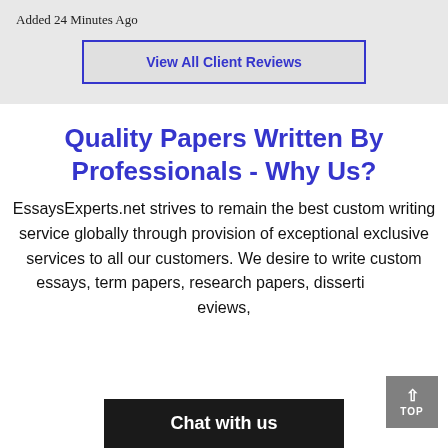Added 24 Minutes Ago
View All Client Reviews
Quality Papers Written By Professionals - Why Us?
EssaysExperts.net strives to remain the best custom writing service globally through provision of exceptional exclusive services to all our customers. We desire to write custom essays, term papers, research papers, dissertations, reviews,
Chat with us